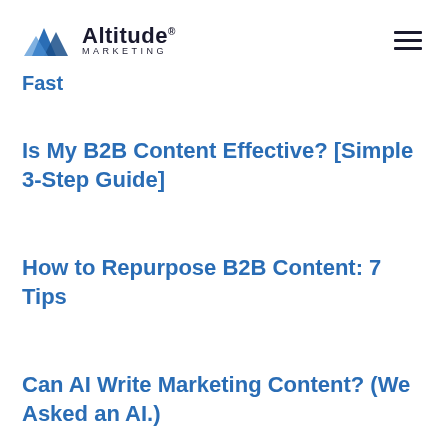Altitude Marketing
Fast
Is My B2B Content Effective? [Simple 3-Step Guide]
How to Repurpose B2B Content: 7 Tips
Can AI Write Marketing Content? (We Asked an AI.)